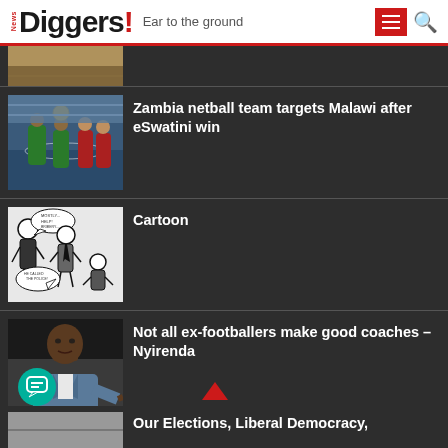News Diggers! Ear to the ground
[Figure (photo): Partial thumbnail of first article, showing sandy/brown earth texture]
[Figure (photo): Zambia netball team players in green uniforms playing a match]
Zambia netball team targets Malawi after eSwatini win
[Figure (illustration): Black and white political cartoon with figures and speech bubbles]
Cartoon
[Figure (photo): A football coach (Nyirenda) in a suit pointing, dark background]
Not all ex-footballers make good coaches – Nyirenda
[Figure (photo): Partial thumbnail at bottom of page, black and white image]
Our Elections, Liberal Democracy,